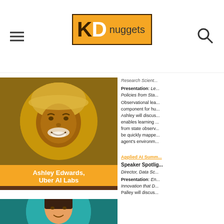KDnuggets
[Figure (photo): Ashley Edwards headshot in circular frame on orange/brown background with name label]
Ashley Edwards, Uber AI Labs
Research Scientist...
Presentation: Le... Policies from Sta... Observational lea... component for hu... Ashley will discus... enables learning ... from state observ... be quickly mappe... agent's environm...
[Figure (photo): Second speaker headshot in circular frame on teal background]
Applied AI Summ...
Speaker Spotlig...
Director, Data Sc...
Presentation: En...
Innovation that D...
Palley will discus...